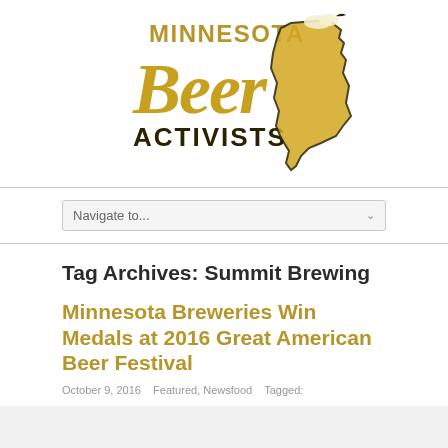[Figure (logo): Minnesota Beer Activists logo with stylized gold 'Beer' script text, 'MINNESOTA' and 'ACTIVISTS' in bold gold/dark text, and an outline of Minnesota state filled with beer illustration]
Navigate to...
Tag Archives: Summit Brewing
Minnesota Breweries Win Medals at 2016 Great American Beer Festival
October 9, 2016   Featured, Newsfood   Tagged: